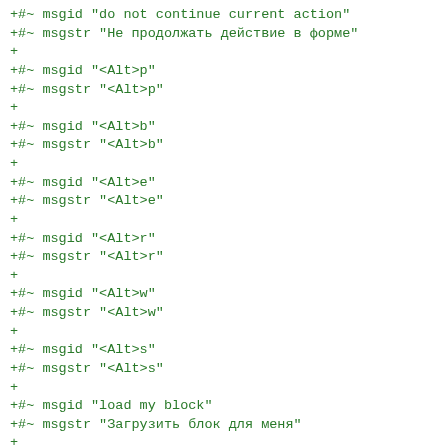+#~ msgid "do not continue current action"
+#~ msgstr "Не продолжать действие в форме"
+
+#~ msgid "<Alt>p"
+#~ msgstr "<Alt>p"
+
+#~ msgid "<Alt>b"
+#~ msgstr "<Alt>b"
+
+#~ msgid "<Alt>e"
+#~ msgstr "<Alt>e"
+
+#~ msgid "<Alt>r"
+#~ msgstr "<Alt>r"
+
+#~ msgid "<Alt>w"
+#~ msgstr "<Alt>w"
+
+#~ msgid "<Alt>s"
+#~ msgstr "<Alt>s"
+
+#~ msgid "load my block"
+#~ msgstr "Загрузить блок для меня"
+
+#~ msgid "<Alt>o"
+#~ msgstr "<Alt>o"
+
+#~ msgid "stack 2"
+#~ msgstr "стопка 2"
+